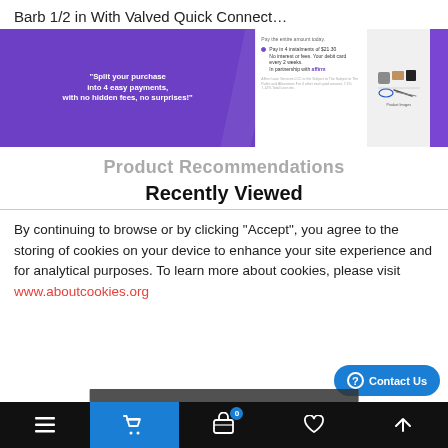Barb 1/2 in With Valved Quick Connect…
[Figure (screenshot): E-commerce banner showing Affirm payment option: 'Split your purchase into 4 easy payments, with no hidden fees, no surprises!' alongside pay-in-4 installments details and product images on purple/white background]
Product Recommendations
Recently Viewed
By continuing to browse or by clicking "Accept", you agree to the storing of cookies on your device to enhance your site experience and for analytical purposes. To learn more about cookies, please visit www.aboutcookies.org